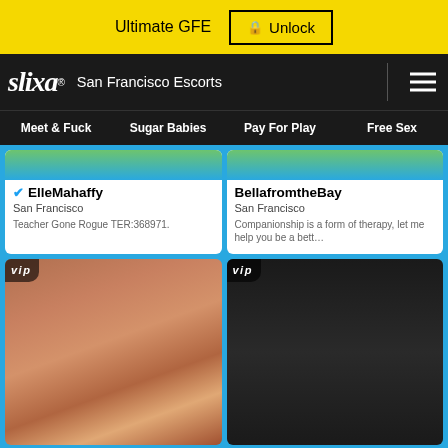Ultimate GFE  🔒 Unlock
slixa® San Francisco Escorts
Meet & Fuck  Sugar Babies  Pay For Play  Free Sex
✅ ElleMahaffy
San Francisco
Teacher Gone Rogue TER:368971.
BellafromtheBay
San Francisco
Companionship is a form of therapy, let me help you be a bett…
[Figure (photo): VIP profile photo - person taking selfie in pink outfit]
[Figure (photo): VIP profile photo - person with tattoos and glasses in dark background]